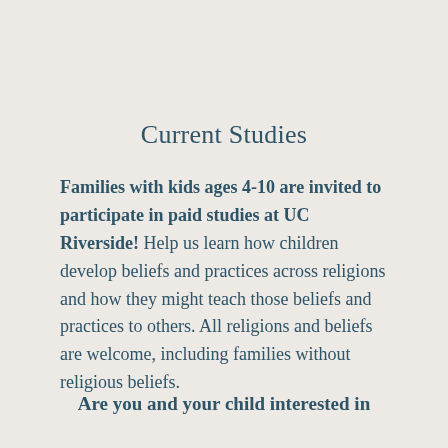Current Studies
Families with kids ages 4-10 are invited to participate in paid studies at UC Riverside! Help us learn how children develop beliefs and practices across religions and how they might teach those beliefs and practices to others. All religions and beliefs are welcome, including families without religious beliefs.
Are you and your child interested in